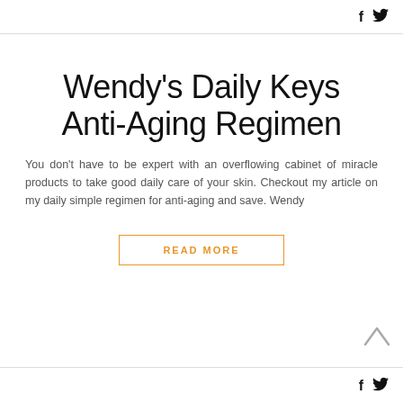f  🐦
Wendy's Daily Keys Anti-Aging Regimen
You don't have to be expert with an overflowing cabinet of miracle products to take good daily care of your skin. Checkout my article on my daily simple regimen for anti-aging and save. Wendy
READ MORE
f  🐦